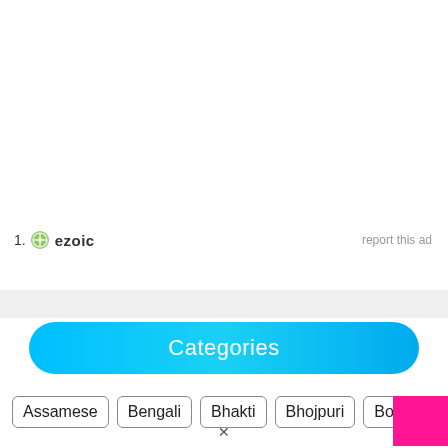[Figure (logo): Ezoic logo with green compass icon and bold 'ezoic' text, preceded by list number '1.' and followed by 'report this ad' link on the right]
report this ad
Categories
Assamese
Bengali
Bhakti
Bhojpuri
Bollyw...